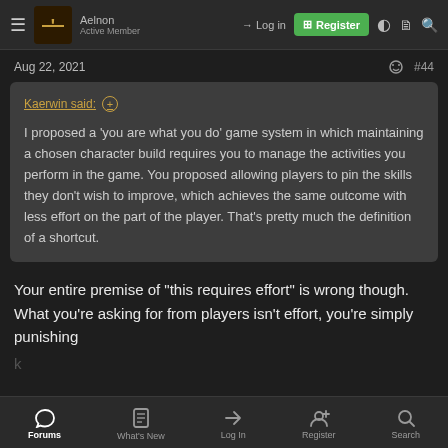Aelnon | Active Member | Log in | Register
Aug 22, 2021 #44
Kaerwin said: ⊕

I proposed a 'you are what you do' game system in which maintaining a chosen character build requires you to manage the activities you perform in the game. You proposed allowing players to pin the skills they don't wish to improve, which achieves the same outcome with less effort on the part of the player. That's pretty much the definition of a shortcut.
Your entire premise of "this requires effort" is wrong though. What you're asking for from players isn't effort, you're simply punishing
Forums | What's New | Log In | Register | Search